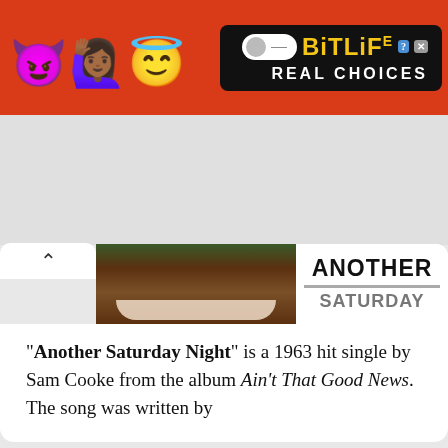[Figure (illustration): BitLife advertisement banner with emoji characters (devil, woman, angel face, sperm) on red background with 'BitLife REAL CHOICES' logo on black background]
[Figure (photo): Partial photo of a smiling Black man in green clothing, with text panel showing 'ANOTHER SATURDAY' in bold black letters]
"Another Saturday Night" is a 1963 hit single by Sam Cooke from the album Ain't That Good News. The song was written by
"Lover, Come Back to Me" is a popular song composed by Sigmund Romberg with lyrics by Oscar Hammerstein II for the Broadway show The New Moon, where the song was introduced by